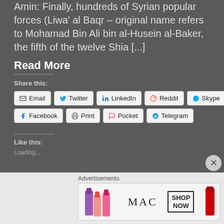Amin: Finally, hundreds of Syrian popular forces (Liwa' al Baqr – original name refers to Mohamad Bin Ali bin al-Husein al-Baker, the fifth of the twelve Shia [...]
Read More
Share this:
Email  Twitter  LinkedIn  Reddit  Skype  Facebook  Print  Pocket  Telegram
Like this:
Loading...
Advertisements
[Figure (photo): MAC cosmetics advertisement showing colorful lipsticks and SHOP NOW call to action]